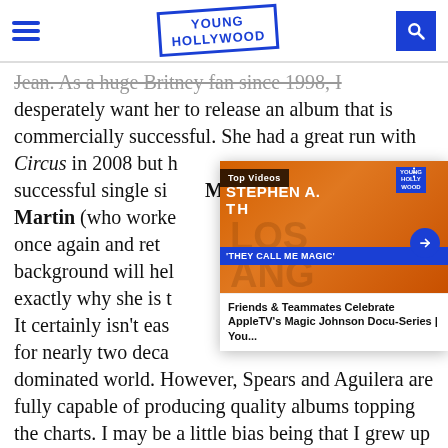Young Hollywood
Jean. As a huge Britney fan since 1998, I desperately want her to release an album that is commercially successful. She had a great run with Circus in 2008 but hasn't had a commercially successful single since. Max Martin (who worked with her once again and returned to her background will help her remember exactly why she is the... It certainly isn't easy for nearly two decades dominated world. However, Spears and Aguilera are fully capable of producing quality albums topping the charts. I may be a little bias being that I grew up with them during the height of their success, but are
[Figure (screenshot): Video overlay showing Stephen A. Smith thumbnail with 'THEY CALL ME MAGIC' title and caption 'Friends & Teammates Celebrate AppleTV's Magic Johnson Docu-Series | You...' with Top Videos label and Young Hollywood branding]